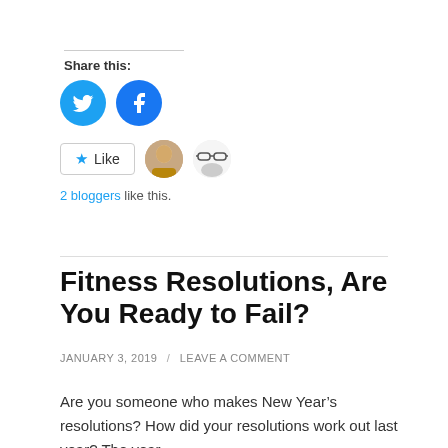Share this:
[Figure (illustration): Twitter and Facebook social share icon buttons (blue circles with white icons)]
[Figure (illustration): Like button with star icon, and two blogger avatar thumbnails]
2 bloggers like this.
Fitness Resolutions, Are You Ready to Fail?
JANUARY 3, 2019 / LEAVE A COMMENT
Are you someone who makes New Year's resolutions? How did your resolutions work out last year? The year